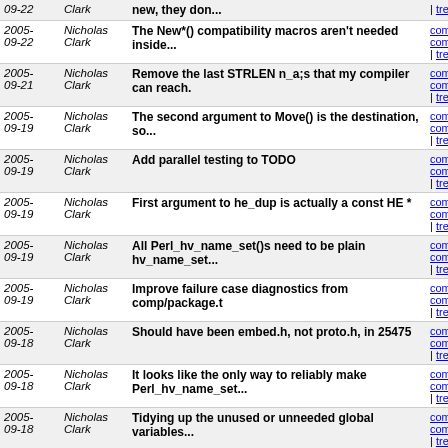| Date | Author | Message | Links |
| --- | --- | --- | --- |
| 2005-09-22 | Nicholas Clark | new, they don... | commit commitd | tree |
| 2005-09-22 | Nicholas Clark | The New*() compatibility macros aren't needed inside... | commit commitd | tree |
| 2005-09-21 | Nicholas Clark | Remove the last STRLEN n_a;s that my compiler can reach. | commit commitd | tree |
| 2005-09-19 | Nicholas Clark | The second argument to Move() is the destination, so... | commit commitd | tree |
| 2005-09-19 | Nicholas Clark | Add parallel testing to TODO | commit commitd | tree |
| 2005-09-19 | Nicholas Clark | First argument to he_dup is actually a const HE * | commit commitd | tree |
| 2005-09-19 | Nicholas Clark | All Perl_hv_name_set()s need to be plain hv_name_set... | commit commitd | tree |
| 2005-09-19 | Nicholas Clark | Improve failure case diagnostics from comp/package.t | commit commitd | tree |
| 2005-09-18 | Nicholas Clark | Should have been embed.h, not proto.h, in 25475 | commit commitd | tree |
| 2005-09-18 | Nicholas Clark | It looks like the only way to reliably make Perl_hv_name_set... | commit commitd | tree |
| 2005-09-18 | Nicholas Clark | Tidying up the unused or unneeded global variables... | commit commitd | tree |
| 2005-09-18 | Nicholas Clark | Controlling what the GNU linker exports from a shared... | commit commitd | tree |
| 2005-09-18 | Nicholas Clark | Detail the minimal rewards programme we have on offer. | commit commitd | tree |
| 2005-09-17 | Nicholas Clark | refactoring xsubpp should have been in the "just perl... | commit commitd | tree |